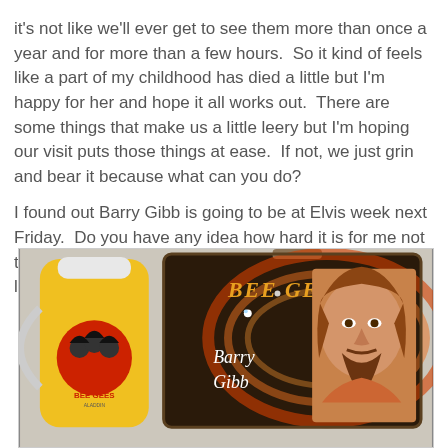it's not like we'll ever get to see them more than once a year and for more than a few hours.  So it kind of feels like a part of my childhood has died a little but I'm happy for her and hope it all works out.  There are some things that make us a little leery but I'm hoping our visit puts those things at ease.  If not, we just grin and bear it because what can you do?

I found out Barry Gibb is going to be at Elvis week next Friday.  Do you have any idea how hard it is for me not to go??  That man was my first vapor on my Bee Gees lunch box...
[Figure (photo): A vintage Bee Gees metal lunch box with Barry Gibb's name and portrait on the front, alongside a yellow thermos also branded with Bee Gees logo.]